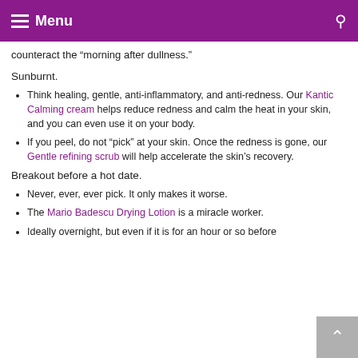Menu
counteract the “morning after dullness.”
Sunburnt.
Think healing, gentle, anti-inflammatory, and anti-redness. Our Kantic Calming cream helps reduce redness and calm the heat in your skin, and you can even use it on your body.
If you peel, do not “pick” at your skin. Once the redness is gone, our Gentle refining scrub will help accelerate the skin’s recovery.
Breakout before a hot date.
Never, ever, ever pick. It only makes it worse.
The Mario Badescu Drying Lotion is a miracle worker.
Ideally overnight, but even if it is for an hour or so before